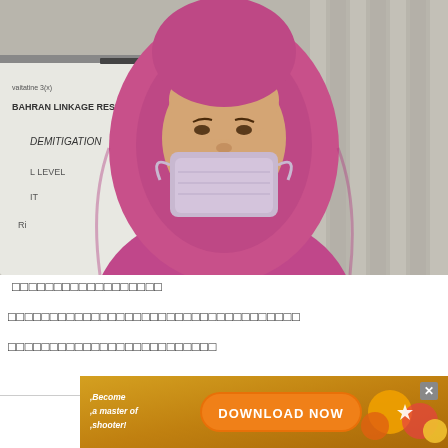[Figure (photo): A woman wearing a pink hijab and light purple surgical mask, sitting in front of a whiteboard with partial text visible including 'DEMITIGATION', 'BRAIN LINKAGE RESP', and other words. Background has vertical blinds/curtains.]
□□□□□□□□□□□□□□□□□□
□□□□□□□□□□□□□□□□□□□□□□□□□□□□□□□□□□□
□□□□□□□□□□□□□□□□□□□□□□□□□
[Figure (screenshot): Advertisement banner: 'Become a master of shooter!' on left, orange 'DOWNLOAD NOW' button in center, X close button top right, colorful game graphics on right side.]